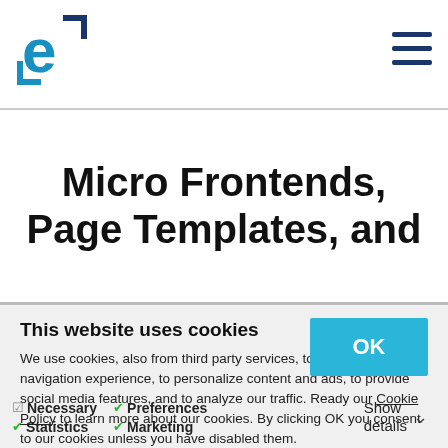e [logo] | hamburger menu
Micro Frontends, Page Templates, and
This website uses cookies
We use cookies, also from third party services, to improve your navigation experience, to personalize content and ads, to provide social media features, and to analyze our traffic. Ready our Cookie Policy to learn more about our cookies. By clicking OK you consent to our cookies unless you have disabled them.
OK
✔ Necessary
✔ Statistics
✔ Preferences
✔ Marketing
Show details ∨